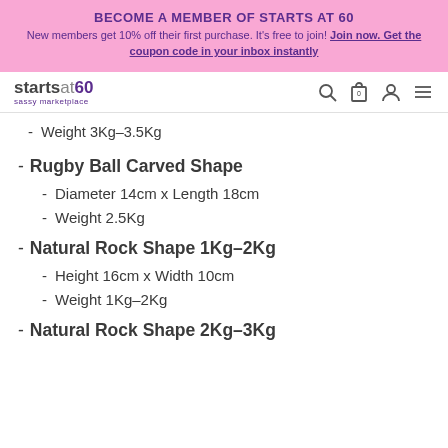BECOME A MEMBER OF STARTS AT 60
New members get 10% off their first purchase. It's free to join! Join now. Get the coupon code in your inbox instantly
[Figure (logo): Starts at 60 sassy marketplace logo with nav icons]
Weight 3Kg-3.5Kg
Rugby Ball Carved Shape
Diameter 14cm x Length 18cm
Weight 2.5Kg
Natural Rock Shape 1Kg-2Kg
Height 16cm x Width 10cm
Weight 1Kg-2Kg
Natural Rock Shape 2Kg-3Kg